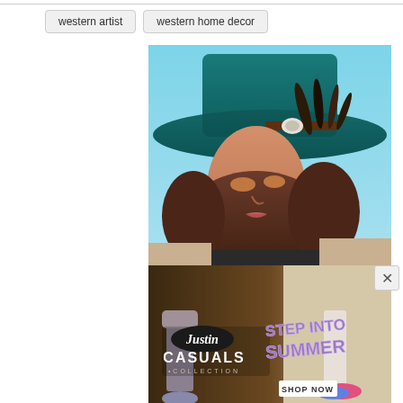western artist
western home decor
[Figure (photo): Woman wearing a wide-brim teal/turquoise western hat with feather decoration, looking downward, with long wavy brown hair, outdoors with blue sky background]
[Figure (photo): Justin Casuals Collection advertisement banner showing 'Step Into Summer' with two people wearing casual shoes, SHOP NOW button]
×